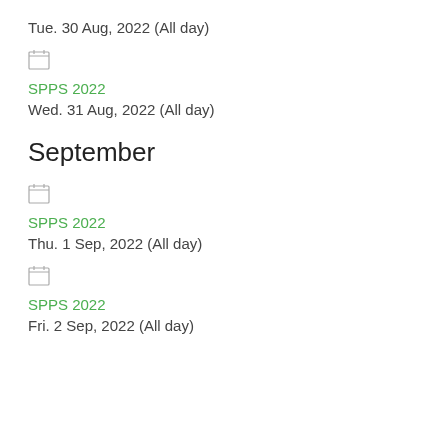Tue. 30 Aug, 2022 (All day)
[Figure (other): Calendar icon]
SPPS 2022
Wed. 31 Aug, 2022 (All day)
September
[Figure (other): Calendar icon]
SPPS 2022
Thu. 1 Sep, 2022 (All day)
[Figure (other): Calendar icon]
SPPS 2022
Fri. 2 Sep, 2022 (All day)